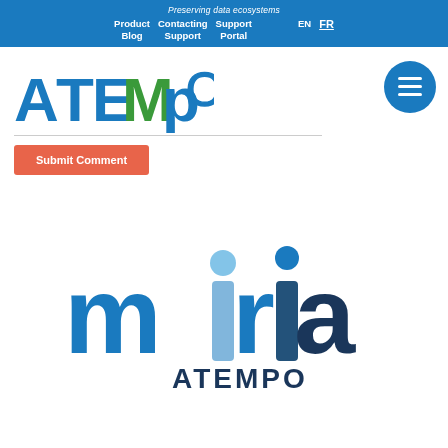Preserving data ecosystems | Product | Blog | Contacting Support | Support Portal | EN | FR
[Figure (logo): Atempo logo - colorful letters spelling ATEMPO with blue and green colors]
Submit Comment
[Figure (logo): Miria Atempo logo - lowercase letters in blue shades spelling 'miria' with ATEMPO below in dark blue]